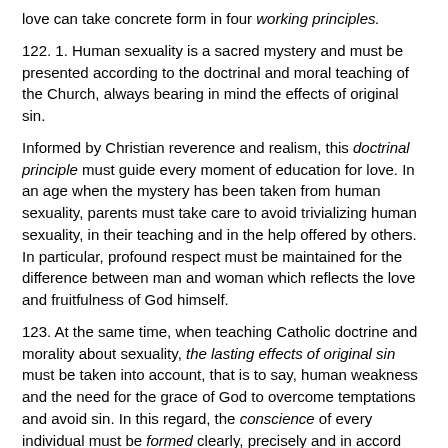love can take concrete form in four working principles.
122. 1. Human sexuality is a sacred mystery and must be presented according to the doctrinal and moral teaching of the Church, always bearing in mind the effects of original sin.
Informed by Christian reverence and realism, this doctrinal principle must guide every moment of education for love. In an age when the mystery has been taken from human sexuality, parents must take care to avoid trivializing human sexuality, in their teaching and in the help offered by others. In particular, profound respect must be maintained for the difference between man and woman which reflects the love and fruitfulness of God himself.
123. At the same time, when teaching Catholic doctrine and morality about sexuality, the lasting effects of original sin must be taken into account, that is to say, human weakness and the need for the grace of God to overcome temptations and avoid sin. In this regard, the conscience of every individual must be formed clearly, precisely and in accord with spiritual values. But Catholic morality is never limited to teaching about avoiding sin. It also deals with growth in the Christian virtues and developing the capacity for self-giving in the vocation of one's own life.
124. 2. Only information proportionate to each phase of their individual development should be presented to